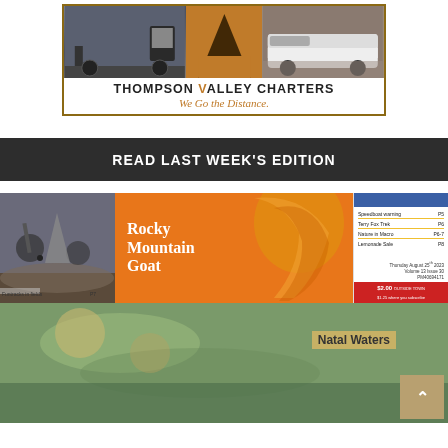[Figure (logo): Thompson Valley Charters advertisement with logo, two bus photos, brown V shape, brand name and tagline 'We Go the Distance.']
READ LAST WEEK'S EDITION
[Figure (screenshot): Preview of Rocky Mountain Goat newspaper edition showing front page with Rocky Mountain Goat logo on orange background, mountain biker photo, table of contents, date Thursday August 25th 2023 Volume 13 Issue 30, price $2.00, and Natal Waters story teaser image.]